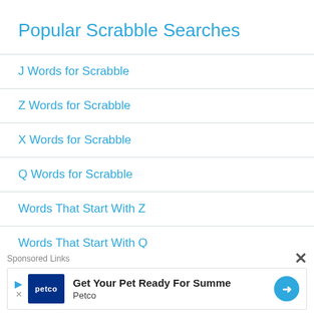Popular Scrabble Searches
J Words for Scrabble
Z Words for Scrabble
X Words for Scrabble
Q Words for Scrabble
Words That Start With Z
Words That Start With Q
Words That Start With F
Words That Start Wi...
2 Le...
[Figure (infographic): Sponsored advertisement banner from Petco: 'Get Your Pet Ready For Summe' with Petco logo and navigation arrow icon. Overlaid with 'Sponsored Links' label and close button.]